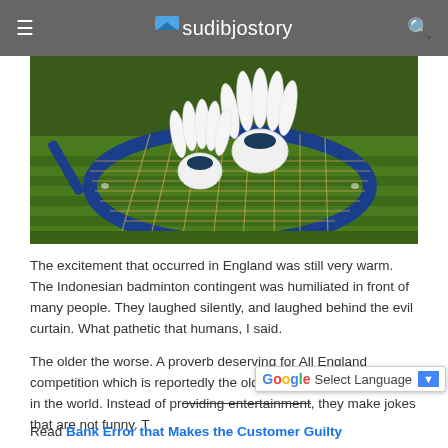≡ sudibjostory 🔍
[Figure (photo): Badminton shuttlecocks resting on a blue badminton racket on green grass]
The excitement that occurred in England was still very warm. The Indonesian badminton contingent was humiliated in front of many people. They laughed silently, and laughed behind the evil curtain. What pathetic that humans, I said.
The older the worse. A proverb deserving for All England competition which is reportedly the oldest badminton tournament in the world. Instead of providing entertainment, they make jokes that are not funny. The audience really wanted to throw sandals and pebbles at the face them.
Read Bank Error that Makes the Customer Guilty